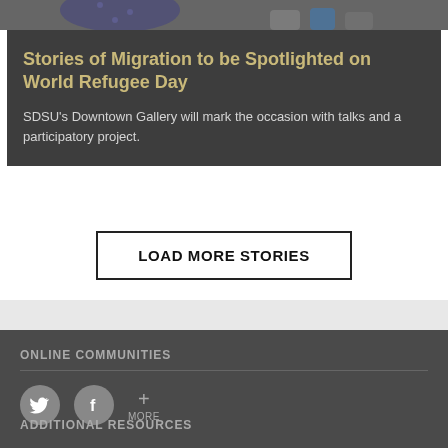[Figure (photo): Partial photo of people at top of page, showing lower portions of a person in a polka-dot outfit and others' shoes/legs]
Stories of Migration to be Spotlighted on World Refugee Day
SDSU's Downtown Gallery will mark the occasion with talks and a participatory project.
LOAD MORE STORIES
ONLINE COMMUNITIES
[Figure (infographic): Social media icons: Twitter bird icon circle, Facebook F icon circle, and a plus sign with MORE label]
ADDITIONAL RESOURCES